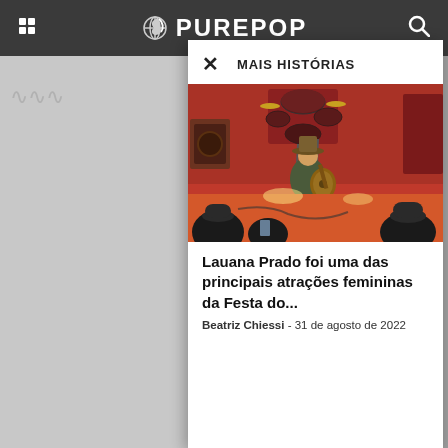PUREPOP
MAIS HISTÓRIAS
[Figure (photo): A concert photo showing a performer with a guitar sitting on stage wearing a hat and jacket, with drum kit and band members visible in background, audience in foreground, red stage decor]
Lauana Prado foi uma das principais atrações femininas da Festa do...
Beatriz Chiessi - 31 de agosto de 2022